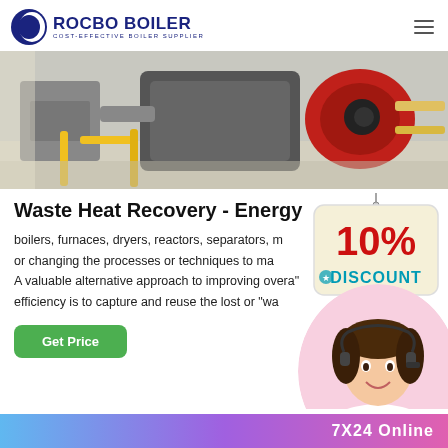[Figure (logo): Rocbo Boiler logo with crescent moon icon and text 'ROCBO BOILER / COST-EFFECTIVE BOILER SUPPLIER']
[Figure (photo): Industrial boiler equipment photo showing yellow pipes, machinery, and a red burner component]
Waste Heat Recovery - Energy
[Figure (illustration): 10% DISCOUNT badge hanging sign in red and teal]
boilers, furnaces, dryers, reactors, separators, m... or changing the processes or techniques to ma... A valuable alternative approach to improving overa" efficiency is to capture and reuse the lost or "wa...
[Figure (photo): Customer service agent woman with headset smiling]
Get Price
7X24 Online